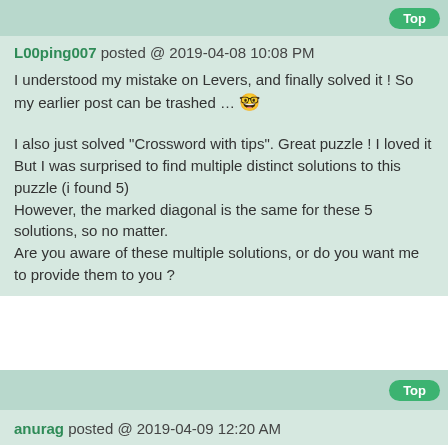Top
L00ping007 posted @ 2019-04-08 10:08 PM
I understood my mistake on Levers, and finally solved it ! So my earlier post can be trashed … 🤓
I also just solved "Crossword with tips". Great puzzle ! I loved it
But I was surprised to find multiple distinct solutions to this puzzle (i found 5)
However, the marked diagonal is the same for these 5 solutions, so no matter.
Are you aware of these multiple solutions, or do you want me to provide them to you ?
Top
anurag posted @ 2019-04-09 12:20 AM